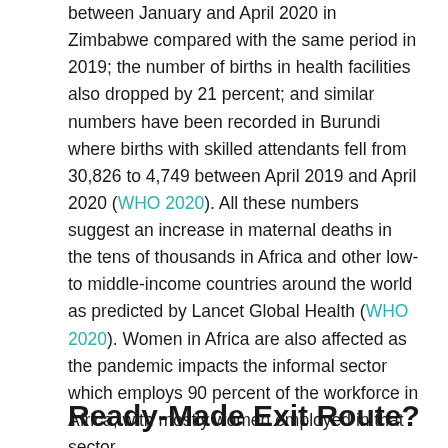between January and April 2020 in Zimbabwe compared with the same period in 2019; the number of births in health facilities also dropped by 21 percent; and similar numbers have been recorded in Burundi where births with skilled attendants fell from 30,826 to 4,749 between April 2019 and April 2020 (WHO 2020). All these numbers suggest an increase in maternal deaths in the tens of thousands in Africa and other low-to middle-income countries around the world as predicted by Lancet Global Health (WHO 2020). Women in Africa are also affected as the pandemic impacts the informal sector which employs 90 percent of the workforce in Africa, with mostly women employed in that sector.
Ready-Made Exit Route?